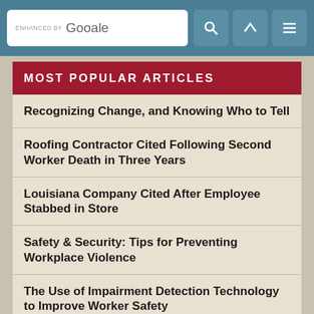enhanced by Google [search bar with icons]
MOST POPULAR ARTICLES
Recognizing Change, and Knowing Who to Tell
Roofing Contractor Cited Following Second Worker Death in Three Years
Louisiana Company Cited After Employee Stabbed in Store
Safety & Security: Tips for Preventing Workplace Violence
The Use of Impairment Detection Technology to Improve Worker Safety